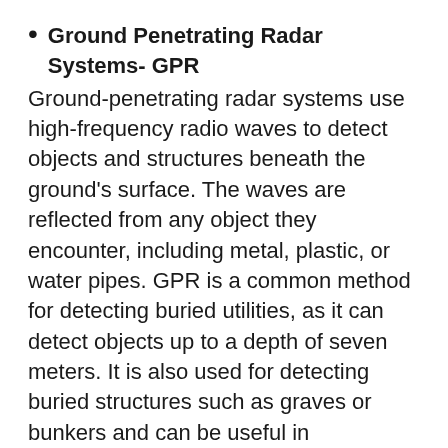Ground Penetrating Radar Systems- GPR Ground-penetrating radar systems use high-frequency radio waves to detect objects and structures beneath the ground's surface. The waves are reflected from any object they encounter, including metal, plastic, or water pipes. GPR is a common method for detecting buried utilities, as it can detect objects up to a depth of seven meters. It is also used for detecting buried structures such as graves or bunkers and can be useful in archaeological excavations
Electromagnetic Locators- EMF Detector An electromagnetic locator transmits radio frequency signals into the ground, which are then reflected by any metallic object they encounter. The signals are then received and